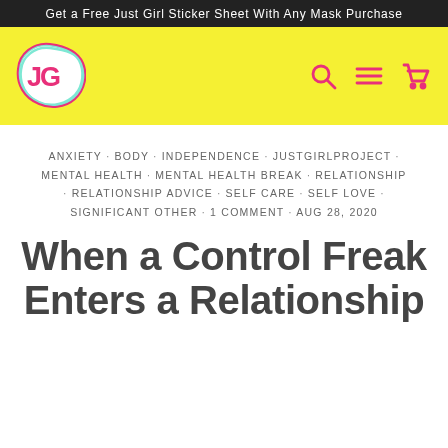Get a Free Just Girl Sticker Sheet With Any Mask Purchase
[Figure (logo): Just Girl Project logo — colorful blob shape with JG letters in pink and teal on yellow background, with pink search, menu, and cart icons on the right]
ANXIETY · BODY · INDEPENDENCE · JUSTGIRLPROJECT · MENTAL HEALTH · MENTAL HEALTH BREAK · RELATIONSHIP · RELATIONSHIP ADVICE · SELF CARE · SELF LOVE · SIGNIFICANT OTHER · 1 COMMENT · AUG 28, 2020
When a Control Freak Enters a Relationship